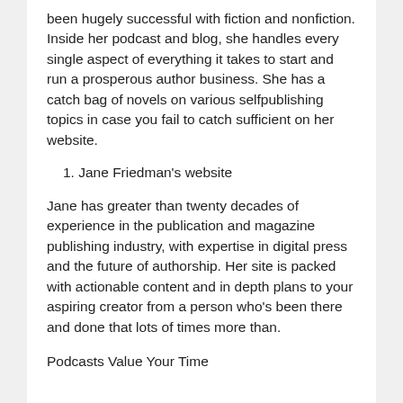been hugely successful with fiction and nonfiction. Inside her podcast and blog, she handles every single aspect of everything it takes to start and run a prosperous author business. She has a catch bag of novels on various selfpublishing topics in case you fail to catch sufficient on her website.
1. Jane Friedman's website
Jane has greater than twenty decades of experience in the publication and magazine publishing industry, with expertise in digital press and the future of authorship. Her site is packed with actionable content and in depth plans to your aspiring creator from a person who's been there and done that lots of times more than.
Podcasts Value Your Time